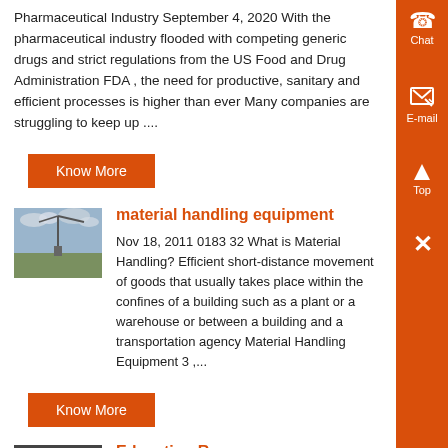Pharmaceutical Industry September 4, 2020 With the pharmaceutical industry flooded with competing generic drugs and strict regulations from the US Food and Drug Administration FDA , the need for productive, sanitary and efficient processes is higher than ever Many companies are struggling to keep up ....
Know More
[Figure (photo): Outdoor scene with a crane or construction equipment against a cloudy sky]
material handling equipment
Nov 18, 2011 0183 32 What is Material Handling? Efficient short-distance movement of goods that usually takes place within the confines of a building such as a plant or a warehouse or between a building and a transportation agency Material Handling Equipment 3 ,...
Know More
[Figure (photo): Close-up of industrial pipe or mechanical component]
Education Resources
It is intended as an introductory document that provides